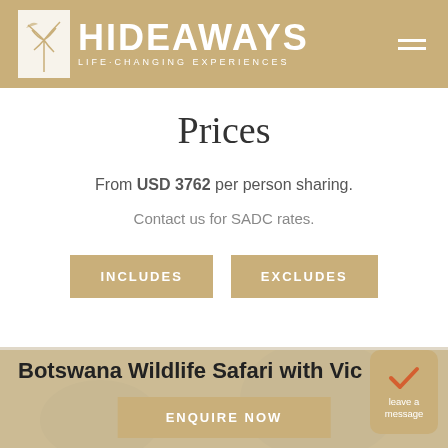HIDEAWAYS LIFE-CHANGING EXPERIENCES
Prices
From USD 3762 per person sharing.
Contact us for SADC rates.
INCLUDES
EXCLUDES
Botswana Wildlife Safari with Vic
ENQUIRE NOW
leave a message